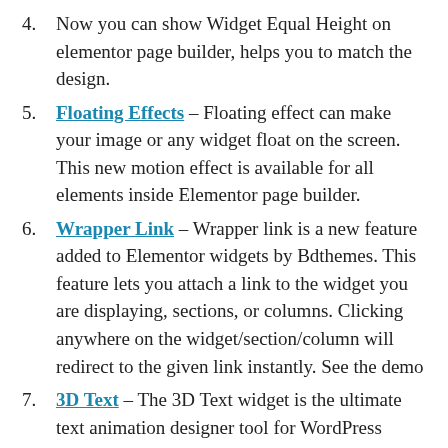Now you can show Widget Equal Height on elementor page builder, helps you to match the design.
Floating Effects – Floating effect can make your image or any widget float on the screen. This new motion effect is available for all elements inside Elementor page builder.
Wrapper Link – Wrapper link is a new feature added to Elementor widgets by Bdthemes. This feature lets you attach a link to the widget you are displaying, sections, or columns. Clicking anywhere on the widget/section/column will redirect to the given link instantly. See the demo
3D Text – The 3D Text widget is the ultimate text animation designer tool for WordPress users. Using it, you can build 3D text blocks that react to scroll, cursor, click, and hover with a ton of different effects including rotation, degree, layers, depth, direction, etc. See the demo